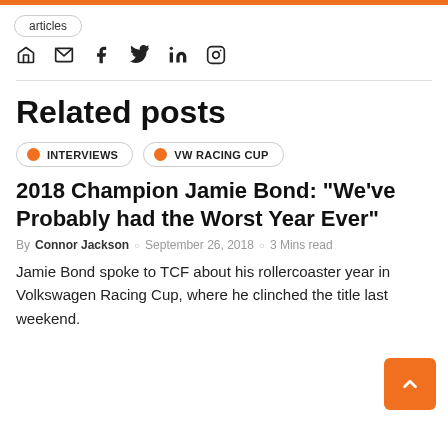articles
Social icons: home, email, facebook, twitter, linkedin, instagram
Related posts
INTERVIEWS | VW RACING CUP
2018 Champion Jamie Bond: "We've Probably had the Worst Year Ever"
By Connor Jackson  September 26, 2018  3 Mins read
Jamie Bond spoke to TCF about his rollercoaster year in Volkswagen Racing Cup, where he clinched the title last weekend.